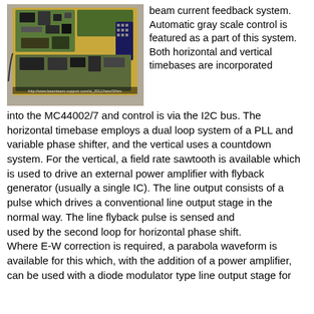[Figure (photo): Photograph of a printed circuit board (PCB) with electronic components, viewed from above against a gray surface.]
beam current feedback system. Automatic gray scale control is featured as a part of this system. Both horizontal and vertical timebases are incorporated into the MC44002/7 and control is via the I2C bus. The horizontal timebase employs a dual loop system of a PLL and variable phase shifter, and the vertical uses a countdown system. For the vertical, a field rate sawtooth is available which is used to drive an external power amplifier with flyback generator (usually a single IC). The line output consists of a pulse which drives a conventional line output stage in the normal way. The line flyback pulse is sensed and used by the second loop for horizontal phase shift. Where E-W correction is required, a parabola waveform is available for this which, with the addition of a power amplifier, can be used with a diode modulator type line output stage for